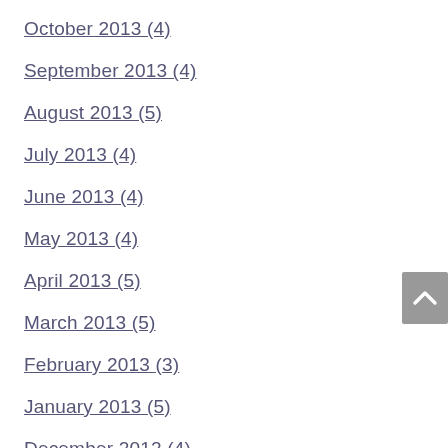October 2013 (4)
September 2013 (4)
August 2013 (5)
July 2013 (4)
June 2013 (4)
May 2013 (4)
April 2013 (5)
March 2013 (5)
February 2013 (3)
January 2013 (5)
December 2012 (4)
November 2012 (4)